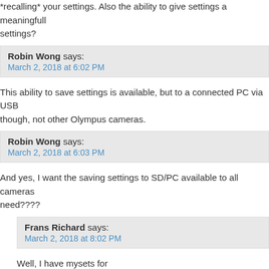*recalling* your settings. Also the ability to give settings a meaningfull settings?
Robin Wong says: March 2, 2018 at 6:02 PM
This ability to save settings is available, but to a connected PC via USB though, not other Olympus cameras.
Robin Wong says: March 2, 2018 at 6:03 PM
And yes, I want the saving settings to SD/PC available to all cameras need????
Frans Richard says: March 2, 2018 at 8:02 PM
Well, I have mysets for general photography